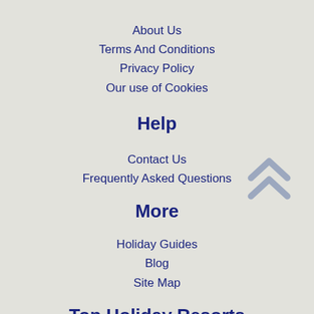About Us
Terms And Conditions
Privacy Policy
Our use of Cookies
Help
Contact Us
Frequently Asked Questions
[Figure (illustration): Double upward chevron/arrow icon in muted blue-grey color]
More
Holiday Guides
Blog
Site Map
Top Holiday Resorts